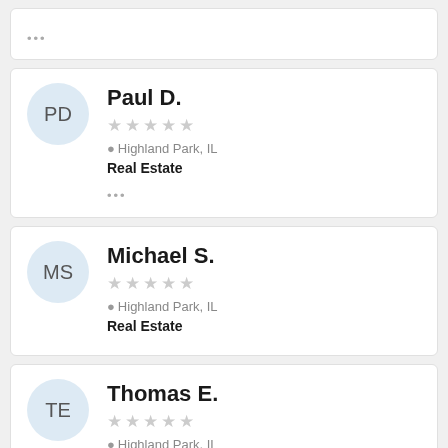[Figure (other): Stub card top with ellipsis dots]
Paul D.
★★★★★
Highland Park, IL
Real Estate
•••
Michael S.
★★★★★
Highland Park, IL
Real Estate
Thomas E.
★★★★★
Highland Park, IL